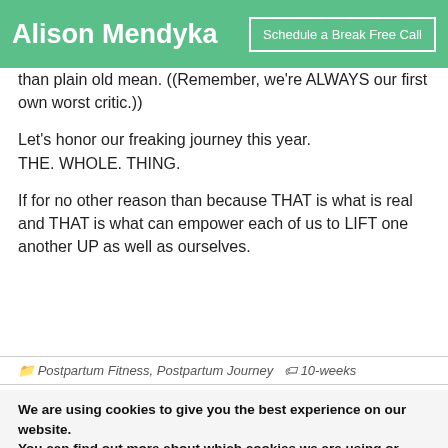Alison Mendyka | Schedule a Break Free Call
than plain old mean. ((Remember, we're ALWAYS our first own worst critic.))

Let's honor our freaking journey this year. THE. WHOLE. THING.

If for no other reason than because THAT is what is real and THAT is what can empower each of us to LIFT one another UP as well as ourselves.
📁 Postpartum Fitness, Postpartum Journey 🏷 10-weeks
We are using cookies to give you the best experience on our website.
You can find out more about which cookies we are using or switch them off in settings.
Got it!